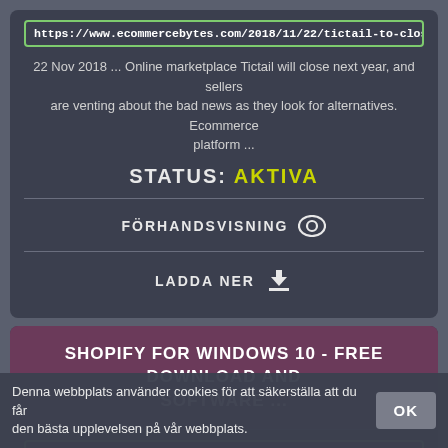https://www.ecommercebytes.com/2018/11/22/tictail-to-close-after-shopi
22 Nov 2018 ... Online marketplace Tictail will close next year, and sellers are venting about the bad news as they look for alternatives. Ecommerce platform ...
STATUS: AKTIVA
FÖRHANDSVISNING
LADDA NER
SHOPIFY FOR WINDOWS 10 - FREE DOWNLOAD AND SOFTWARE ...
https://download.cnet.com/Shopify-for-Windows-10/3000-2064_4-77682
An ecommerce platform made for you. Whether you sell online, on social
Denna webbplats använder cookies för att säkerställa att du får den bästa upplevelsen på vår webbplats.